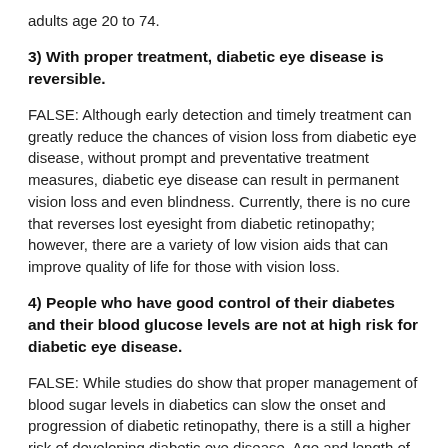adults age 20 to 74.
3) With proper treatment, diabetic eye disease is reversible.
FALSE: Although early detection and timely treatment can greatly reduce the chances of vision loss from diabetic eye disease, without prompt and preventative treatment measures, diabetic eye disease can result in permanent vision loss and even blindness. Currently, there is no cure that reverses lost eyesight from diabetic retinopathy; however, there are a variety of low vision aids that can improve quality of life for those with vision loss.
4) People who have good control of their diabetes and their blood glucose levels are not at high risk for diabetic eye disease.
FALSE: While studies do show that proper management of blood sugar levels in diabetics can slow the onset and progression of diabetic retinopathy, there is a still a higher risk of developing diabetic eye disease. Age and length of the disease can be factors for eye diseases such as